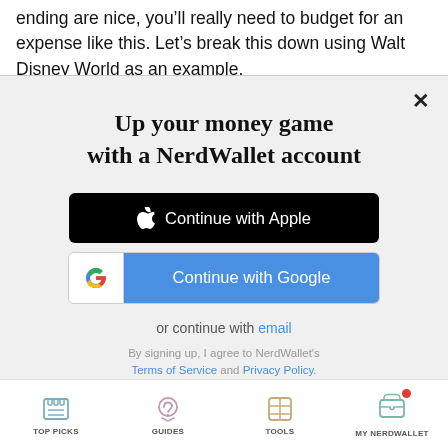expense like this. Let’s break this down using Walt Disney World as an example.
[Figure (screenshot): NerdWallet signup modal with title 'Up your money game with a NerdWallet account', Continue with Apple button (black), Continue with Google button (blue/white), 'or continue with email' link, and Terms of Service / Privacy Policy text. Modal has a close (X) button in top right corner.]
TOP PICKS   GUIDES   TOOLS   MY NERDWALLET